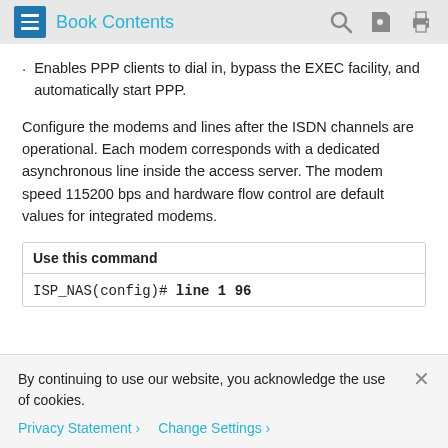Book Contents
Enables PPP clients to dial in, bypass the EXEC facility, and automatically start PPP.
Configure the modems and lines after the ISDN channels are operational. Each modem corresponds with a dedicated asynchronous line inside the access server. The modem speed 115200 bps and hardware flow control are default values for integrated modems.
| Use this command |
| --- |
| ISP_NAS(config)# line 1 96 |
By continuing to use our website, you acknowledge the use of cookies.
Privacy Statement > Change Settings >